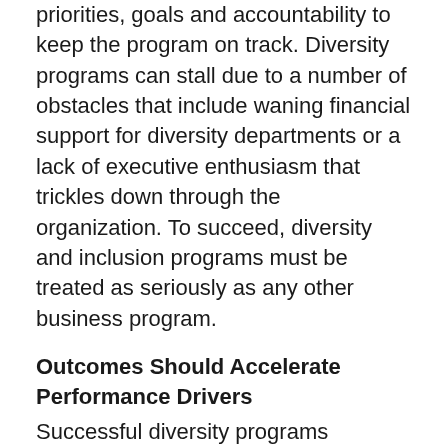priorities, goals and accountability to keep the program on track. Diversity programs can stall due to a number of obstacles that include waning financial support for diversity departments or a lack of executive enthusiasm that trickles down through the organization. To succeed, diversity and inclusion programs must be treated as seriously as any other business program.
Outcomes Should Accelerate Performance Drivers
Successful diversity programs implement methods for benchmarking and assessment of the program's impact on organizational performance. However, the benchmarking and assessment process should also be enhanced by addressing progress. Instead of just determining the financial impact of the diversity program on the bottom line, it is also important to review the program in terms of whether the program is making progress towards strategic goals. Publishing statistics may